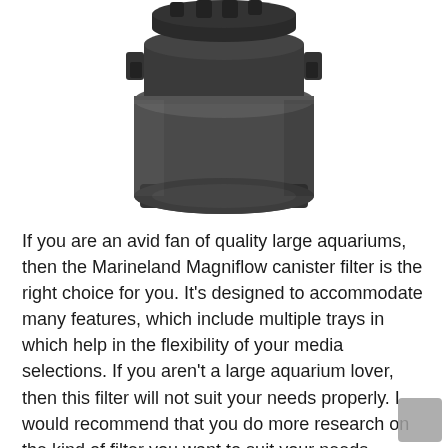[Figure (photo): Top-down photo of a dark grey/black cylindrical Marineland Magniflow canister filter with multiple clips and connectors visible on top, against a white background.]
If you are an avid fan of quality large aquariums, then the Marineland Magniflow canister filter is the right choice for you. It's designed to accommodate many features, which include multiple trays in which help in the flexibility of your media selections. If you aren't a large aquarium lover, then this filter will not suit your needs properly. I would recommend that you do more research on the kind of filter you want to suit your needs.